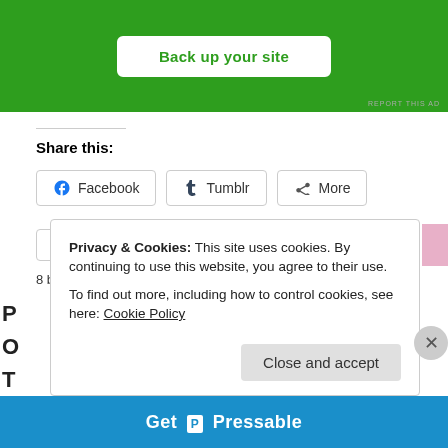[Figure (screenshot): Green advertisement banner with white button labeled 'Back up your site']
Share this:
[Figure (infographic): Social share buttons: Facebook, Tumblr, More]
[Figure (infographic): Like button with star icon and 8 blogger avatar thumbnails]
8 bloggers like this.
Privacy & Cookies: This site uses cookies. By continuing to use this website, you agree to their use.
To find out more, including how to control cookies, see here: Cookie Policy
[Figure (screenshot): Close and accept button for cookie notice]
[Figure (screenshot): Pressable banner at the bottom of the page]